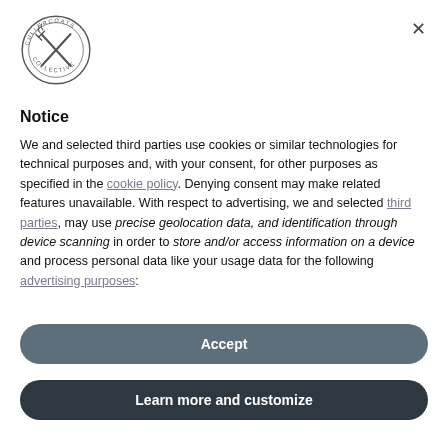[Figure (logo): Cullercoats Collective circular logo with crossed utensils]
Notice
We and selected third parties use cookies or similar technologies for technical purposes and, with your consent, for other purposes as specified in the cookie policy. Denying consent may make related features unavailable. With respect to advertising, we and selected third parties, may use precise geolocation data, and identification through device scanning in order to store and/or access information on a device and process personal data like your usage data for the following advertising purposes:
Accept
Learn more and customize